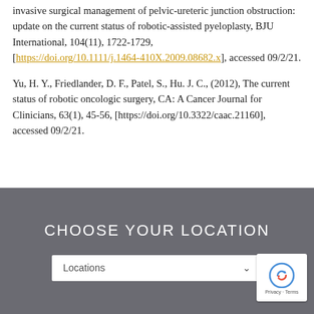invasive surgical management of pelvic-ureteric junction obstruction: update on the current status of robotic-assisted pyeloplasty, BJU International, 104(11), 1722-1729, [https://doi.org/10.1111/j.1464-410X.2009.08682.x], accessed 09/2/21.
Yu, H. Y., Friedlander, D. F., Patel, S., Hu. J. C., (2012), The current status of robotic oncologic surgery, CA: A Cancer Journal for Clinicians, 63(1), 45-56, [https://doi.org/10.3322/caac.21160], accessed 09/2/21.
CHOOSE YOUR LOCATION
Locations